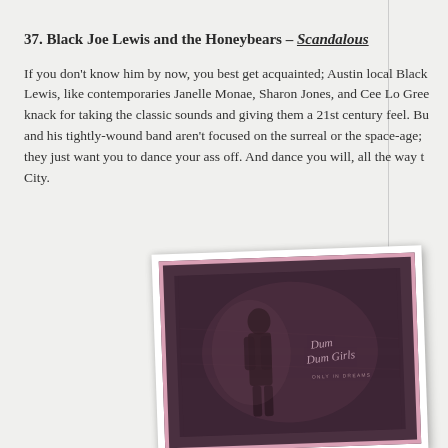37. Black Joe Lewis and the Honeybears – Scandalous
If you don't know him by now, you best get acquainted; Austin local Black Lewis, like contemporaries Janelle Monae, Sharon Jones, and Cee Lo Green, knack for taking the classic sounds and giving them a 21st century feel. But and his tightly-wound band aren't focused on the surreal or the space-age; they just want you to dance your ass off. And dance you will, all the way to City.
[Figure (photo): Album cover for Dum Dum Girls 'Only in Dreams' — a dark mauve/purple tinted photo of a silhouetted female figure, with cursive script text reading 'Dum Dum Girls' and subtitle 'Only in Dreams', framed by a pink border on a white card slightly rotated.]